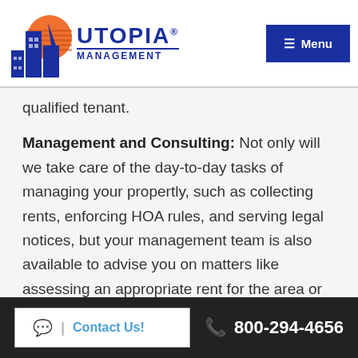UTOPIA MANAGEMENT | Menu
qualified tenant.
Management and Consulting: Not only will we take care of the day-to-day tasks of managing your propertly, such as collecting rents, enforcing HOA rules, and serving legal notices, but your management team is also available to advise you on matters like assessing an appropriate rent for the area or deciding which improvements might increase the value of your property.
Maintenance and Repairs: When it comes to
Contact Us! | 800-294-4656